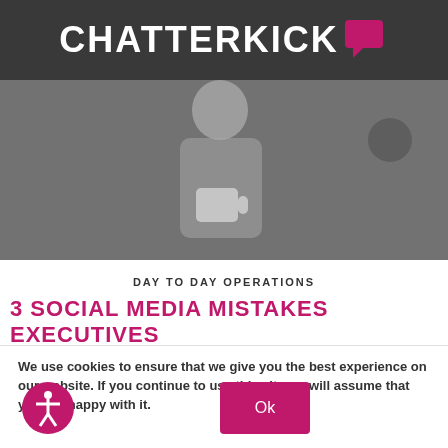[Figure (photo): Chatterkick website screenshot showing a woman standing in an office holding a mug, with the Chatterkick logo overlaid on top. A Mac computer is visible in the background.]
DAY TO DAY OPERATIONS
3 SOCIAL MEDIA MISTAKES EXECUTIVES
We use cookies to ensure that we give you the best experience on our website. If you continue to use this site we will assume that you are happy with it.
Ok